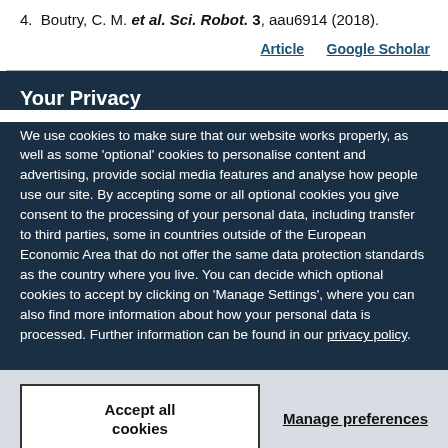4. Boutry, C. M. et al. Sci. Robot. 3, aau6914 (2018).
Article  Google Scholar
Your Privacy
We use cookies to make sure that our website works properly, as well as some 'optional' cookies to personalise content and advertising, provide social media features and analyse how people use our site. By accepting some or all optional cookies you give consent to the processing of your personal data, including transfer to third parties, some in countries outside of the European Economic Area that do not offer the same data protection standards as the country where you live. You can decide which optional cookies to accept by clicking on 'Manage Settings', where you can also find more information about how your personal data is processed. Further information can be found in our privacy policy.
Accept all cookies
Manage preferences